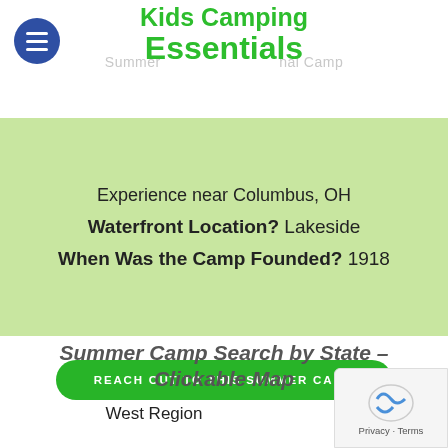Kids Camping Essentials — Summer nal Camp
Experience near Columbus, OH
Waterfront Location?  Lakeside
When Was the Camp Founded?  1918
REACH OUT TO THIS SUMMER CAMP
Summer Camp Search by State – Clickable Map
West Region